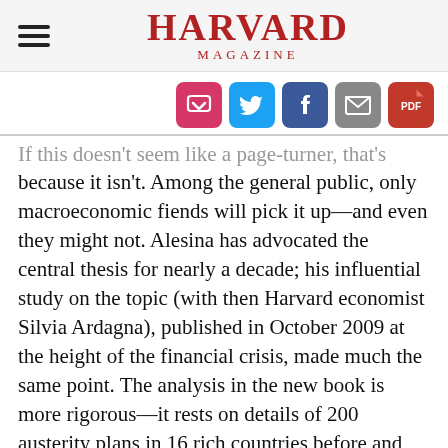HARVARD MAGAZINE
[Figure (infographic): Social share buttons: Pocket, Twitter, Facebook, Email, PDF]
If this doesn't seem like a page-turner, that's because it isn't. Among the general public, only macroeconomic fiends will pick it up—and even they might not. Alesina has advocated the central thesis for nearly a decade; his influential study on the topic (with then Harvard economist Silvia Ardagna), published in October 2009 at the height of the financial crisis, made much the same point. The analysis in the new book is more rigorous—it rests on details of 200 austerity plans in 16 rich countries before and after the financial crisis—but the ultimate finding is the same: belt-tightening